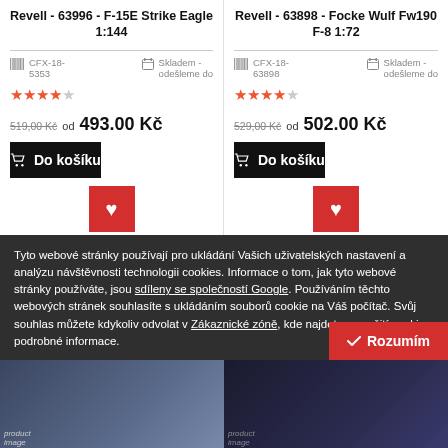Revell - 63996 - F-15E Strike Eagle 1:144
Revell - 63898 - Focke Wulf Fw190 F-8 1:72
CFX-18-5353
Skladem - odešleme do
CFX-18-63898
Skladem - odešleme do
519.00 Kč od 493.00 Kč
529.00 Kč od 502.00 Kč
Do košíku
Do košíku
Tyto webové stránky používají pro ukládání Vašich uživatelských nastavení a analýzu návštěvnosti technologii cookies. Informace o tom, jak tyto webové stránky používáte, jsou sdíleny se společností Google. Používáním těchto webových stránek souhlasíte s ukládáním souborů cookie na Váš počítač. Svůj souhlas můžete kdykoliv odvolat v Zákaznické zóně, kde najdete o využití cookies podrobné informace.
Rozumím